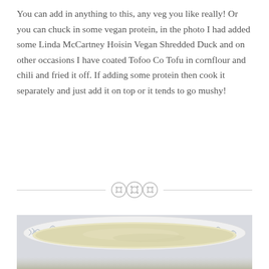You can add in anything to this, any veg you like really! Or you can chuck in some vegan protein, in the photo I had added some Linda McCartney Hoisin Vegan Shredded Duck and on other occasions I have coated Tofoo Co Tofu in cornflour and chili and fried it off. If adding some protein then cook it separately and just add it on top or it tends to go mushy!
[Figure (photo): A bowl with a creamy pale yellow soup or sauce, served in a white bowl with floral decorations on the rim, photographed from above, partially cropped at the bottom of the page.]